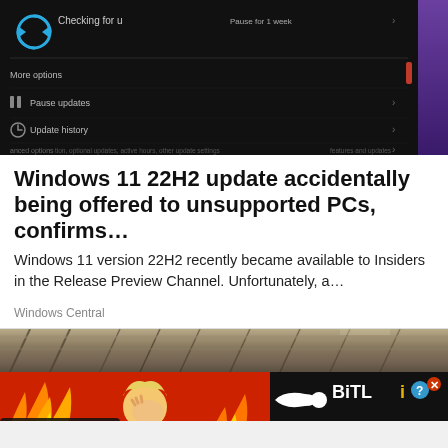[Figure (screenshot): Windows 11 Update settings screen showing 'Checking for updates' with refresh icon, Pause updates option, Update history, and Advanced options on a dark background]
Windows 11 22H2 update accidentally being offered to unsupported PCs, confirms...
Windows 11 version 22H2 recently became available to Insiders in the Release Preview Channel. Unfortunately, a...
Windows Central
[Figure (photo): Ceiling or industrial structure image, partially visible]
[Figure (infographic): BitLife advertisement banner with 'FAIL' text, animated character face-palming with fire, BitLife logo and 'START A NEW LIFE' text on dark background]